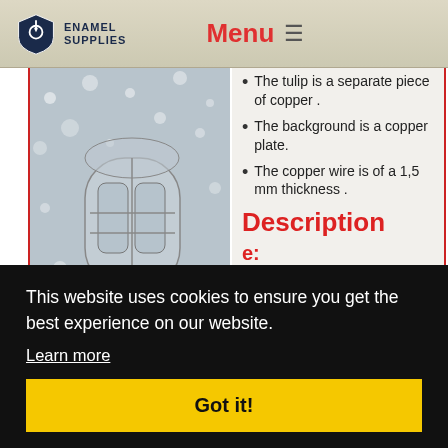Enamel Supplies | Menu
[Figure (photo): Enamel art piece showing a decorative copper cloisonné or enamel work with arched/lantern shape on a textured blue-grey speckled background]
The tulip is a separate piece of copper .
The background is a copper plate.
The copper wire is of a 1,5 mm thickness .
Description
e:
tulip
urn
arts and apply wet
This website uses cookies to ensure you get the best experience on our website. Learn more Got it!